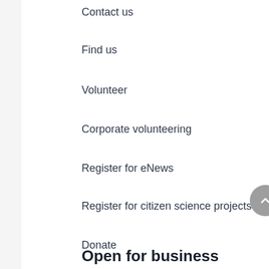Contact us
Find us
Volunteer
Corporate volunteering
Register for eNews
Register for citizen science projects
Donate
Open for business